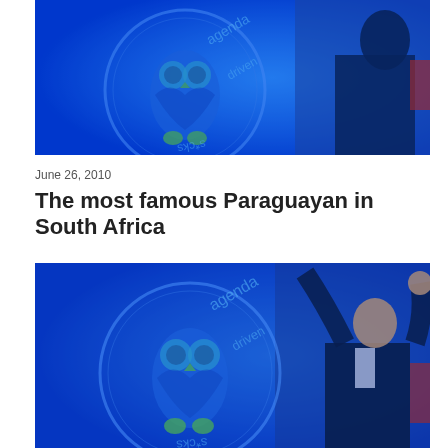[Figure (photo): Blue-tinted photo of a man in a suit with an owl/agenda logo watermark overlaid. Person appears to be celebrating or gesturing upward.]
June 26, 2010
The most famous Paraguayan in South Africa
[Figure (photo): Blue-tinted photo of the same man in a suit with arms raised, with an owl/agenda logo watermark overlaid. The bottom image is a larger version of the same scene.]